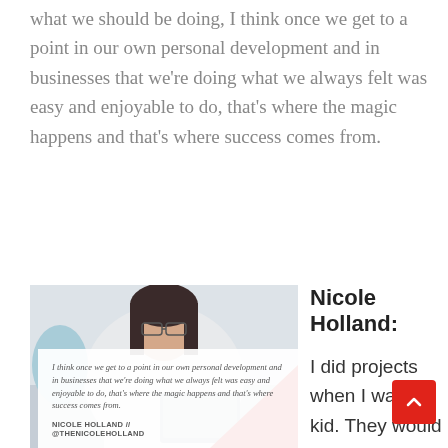what we should be doing, I think once we get to a point in our own personal development and in businesses that we're doing what we always felt was easy and enjoyable to do, that's where the magic happens and that's where success comes from.
[Figure (photo): Woman with dark hair and glasses smiling while working on a laptop, seated in a white chair. A red triangular graphic element appears in the lower right of the photo. A quote overlay box at the bottom contains text and attribution.]
Nicole Holland:
I did projects when I was a kid. They would just come to me, and go, "Oh,